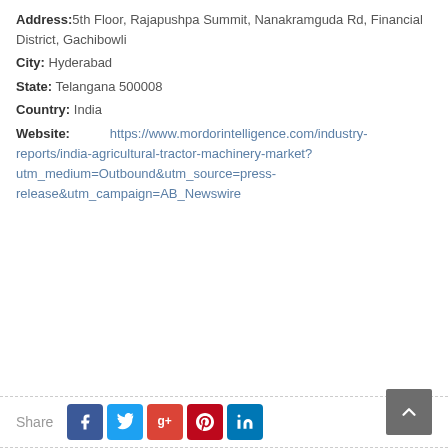Address: 5th Floor, Rajapushpa Summit, Nanakramguda Rd, Financial District, Gachibowli
City: Hyderabad
State: Telangana 500008
Country: India
Website: https://www.mordorintelligence.com/industry-reports/india-agricultural-tractor-machinery-market?utm_medium=Outbound&utm_source=press-release&utm_campaign=AB_Newswire
[Figure (infographic): Social media share bar with Facebook, Twitter, Google+, Pinterest, and LinkedIn icons, plus a back-to-top arrow button]